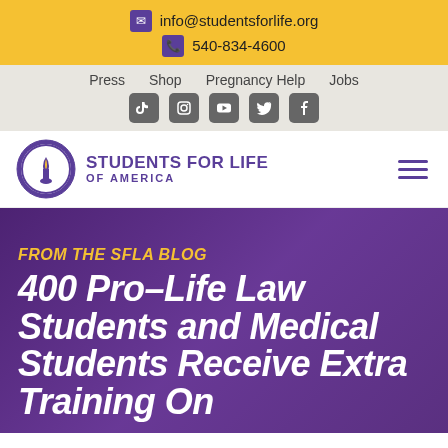info@studentsforlife.org | 540-834-4600
Press  Shop  Pregnancy Help  Jobs
[Figure (logo): Students For Life of America logo with circular emblem and purple text]
FROM THE SFLA BLOG
400 Pro-Life Law Students and Medical Students Receive Extra Training On